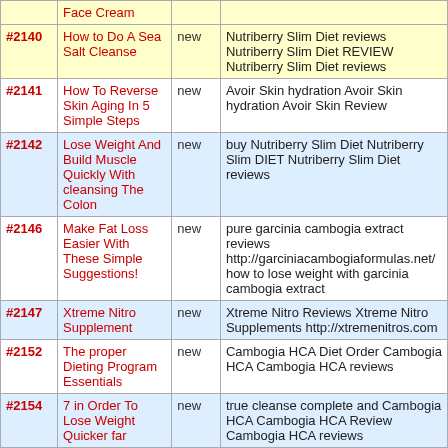| # | Title | Status | Keywords |
| --- | --- | --- | --- |
| #2140 | How to Do A Sea Salt Cleanse | new | Nutriberry Slim Diet reviews Nutriberry Slim Diet REVIEW Nutriberry Slim Diet reviews |
| #2141 | How To Reverse Skin Aging In 5 Simple Steps | new | Avoir Skin hydration Avoir Skin hydration Avoir Skin Review |
| #2142 | Lose Weight And Build Muscle Quickly With cleansing The Colon | new | buy Nutriberry Slim Diet Nutriberry Slim DIET Nutriberry Slim Diet reviews |
| #2146 | Make Fat Loss Easier With These Simple Suggestions! | new | pure garcinia cambogia extract reviews http://garciniacambogiaformulas.net/ how to lose weight with garcinia cambogia extract |
| #2147 | Xtreme Nitro Supplement | new | Xtreme Nitro Reviews Xtreme Nitro Supplements http://xtremenitros.com |
| #2152 | The proper Dieting Program Essentials | new | Cambogia HCA Diet Order Cambogia HCA Cambogia HCA reviews |
| #2154 | 7 in Order To Lose Weight Quicker far | new | true cleanse complete and Cambogia HCA Cambogia HCA Review Cambogia HCA reviews |